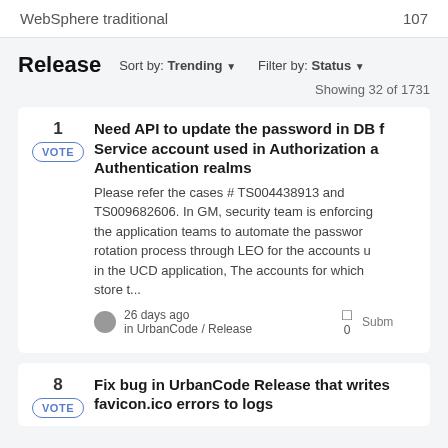WebSphere traditional    107
Release
Sort by: Trending ▾    Filter by: Status ▾
Showing 32 of 1731
1 VOTE — Need API to update the password in DB for Service account used in Authorization and Authentication realms
Please refer the cases # TS004438913 and TS009682606. In GM, security team is enforcing the application teams to automate the password rotation process through LEO for the accounts used in the UCD application, The accounts for which store t...
26 days ago in UrbanCode / Release   0   Submitted
8 VOTE — Fix bug in UrbanCode Release that writes favicon.ico errors to logs